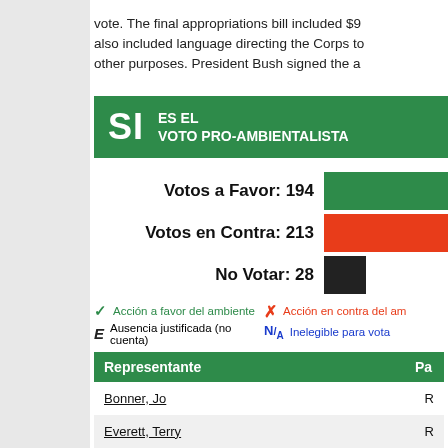vote. The final appropriations bill included $9... also included language directing the Corps to... other purposes. President Bush signed the a...
SI ES EL VOTO PRO-AMBIENTALISTA
Votos a Favor: 194
Votos en Contra: 213
No Votar: 28
✓ Acción a favor del ambiente   ✗ Acción en contra del am...   E Ausencia justificada (no cuenta)   N/A Inelegible para vota...
| Representante | Pa |
| --- | --- |
| Bonner, Jo | R |
| Everett, Terry | R |
| Rogers, Mike D. | R |
| Aderholt, Robert B. | R |